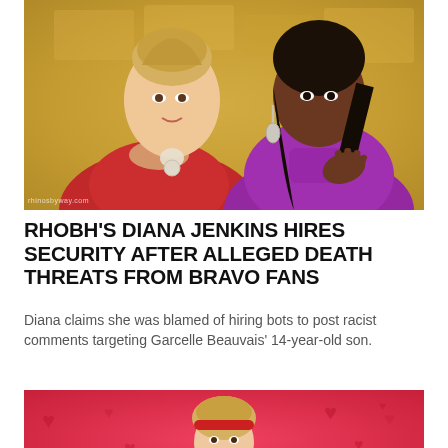[Figure (photo): Two women from Real Housewives of Beverly Hills — one in a red off-shoulder dress with blonde hair, one in a magenta/purple turtleneck dress with long dark hair and chandelier earrings. Background is a gold/amber textured wall. Watermark reads 'rhinosbyway.com'.]
RHOBH'S DIANA JENKINS HIRES SECURITY AFTER ALLEGED DEATH THREATS FROM BRAVO FANS
Diana claims she was blamed of hiring bots to post racist comments targeting Garcelle Beauvais' 14-year-old son.
[Figure (photo): Woman with blonde hair wearing a red headband, photographed against a pink background with red heart patterns. Bottom portion shows a white fluffy object.]